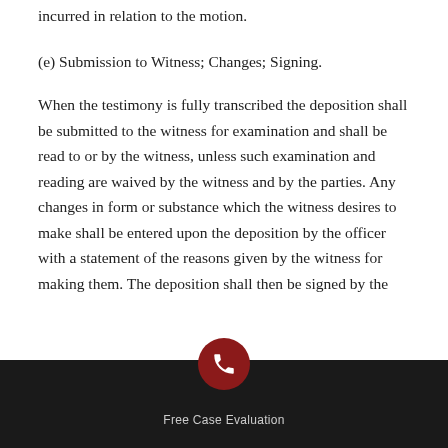incurred in relation to the motion.
(e) Submission to Witness; Changes; Signing.
When the testimony is fully transcribed the deposition shall be submitted to the witness for examination and shall be read to or by the witness, unless such examination and reading are waived by the witness and by the parties. Any changes in form or substance which the witness desires to make shall be entered upon the deposition by the officer with a statement of the reasons given by the witness for making them. The deposition shall then be signed by the
Free Case Evaluation